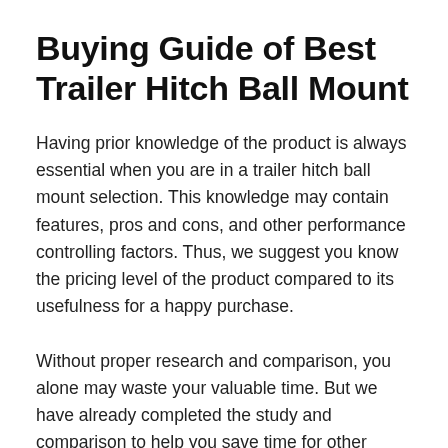Buying Guide of Best Trailer Hitch Ball Mount
Having prior knowledge of the product is always essential when you are in a trailer hitch ball mount selection. This knowledge may contain features, pros and cons, and other performance controlling factors. Thus, we suggest you know the pricing level of the product compared to its usefulness for a happy purchase.
Without proper research and comparison, you alone may waste your valuable time. But we have already completed the study and comparison to help you save time for other chores. You can buy